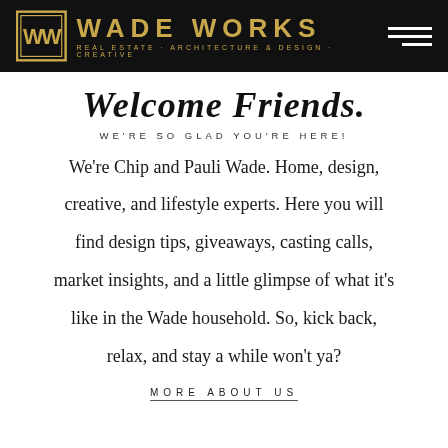WADE WORKS — REAL ESTATE · ARCHITECTURE & DESIGN · CREATIVE
Welcome Friends.
WE'RE SO GLAD YOU'RE HERE!
We're Chip and Pauli Wade. Home, design, creative, and lifestyle experts. Here you will find design tips, giveaways, casting calls, market insights, and a little glimpse of what it's like in the Wade household. So, kick back, relax, and stay a while won't ya?
MORE ABOUT US